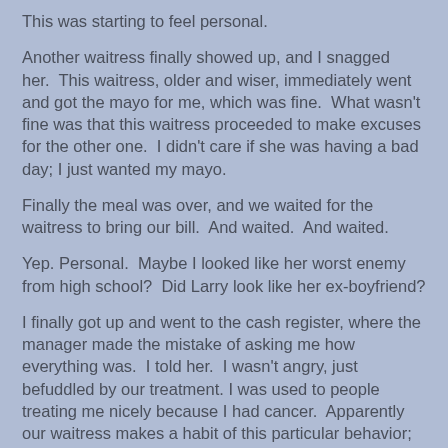This was starting to feel personal.
Another waitress finally showed up, and I snagged her.  This waitress, older and wiser, immediately went and got the mayo for me, which was fine.  What wasn't fine was that this waitress proceeded to make excuses for the other one.  I didn't care if she was having a bad day; I just wanted my mayo.
Finally the meal was over, and we waited for the waitress to bring our bill.  And waited.  And waited.
Yep. Personal.  Maybe I looked like her worst enemy from high school?  Did Larry look like her ex-boyfriend?
I finally got up and went to the cash register, where the manager made the mistake of asking me how everything was.  I told her.  I wasn't angry, just befuddled by our treatment. I was used to people treating me nicely because I had cancer.  Apparently our waitress makes a habit of this particular behavior; the manager sighed heavily and lowered our bill to ten dollars.